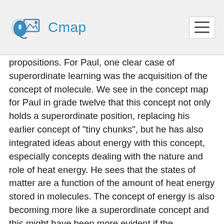Cmap
propositions. For Paul, one clear case of superordinate learning was the acquisition of the concept of molecule. We see in the concept map for Paul in grade twelve that this concept not only holds a superordinate position, replacing his earlier concept of “tiny chunks”, but he has also integrated ideas about energy with this concept, especially concepts dealing with the nature and role of heat energy. He sees that the states of matter are a function of the amount of heat energy stored in molecules. The concept of energy is also becoming more like a superordinate concept and this might have been more evident if the interviews probed more deeply his understanding of energy. As noted earlier, experts differ from novices in the number and quality of superordinate concepts they have developed and their facility in using these concepts in new applications or in new knowledge acquisition. A characteristic of learners who learn mostly by rote is that they have fewer superordinate concepts and these are less fully differentiated. Moreover, rote learners often express faculty or incorrect propositions, or even contradictory propositions when interviewed.